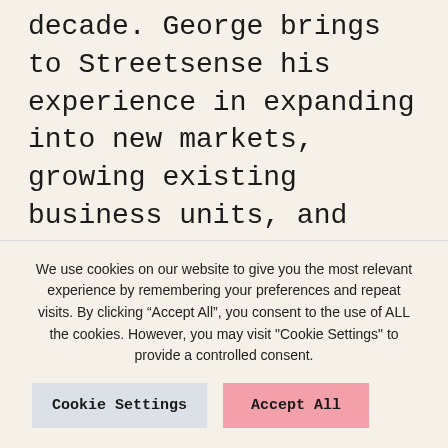decade. George brings to Streetsense his experience in expanding into new markets, growing existing business units, and building high performing sales and operations teams. “We are excited for George to join our collective of storytellers, innovators, and creatives,” said Brian Taff, Streetsense’s CEO. “George brings a unique set of experiences to Streetsense that will enhance our internal
We use cookies on our website to give you the most relevant experience by remembering your preferences and repeat visits. By clicking “Accept All”, you consent to the use of ALL the cookies. However, you may visit "Cookie Settings" to provide a controlled consent.